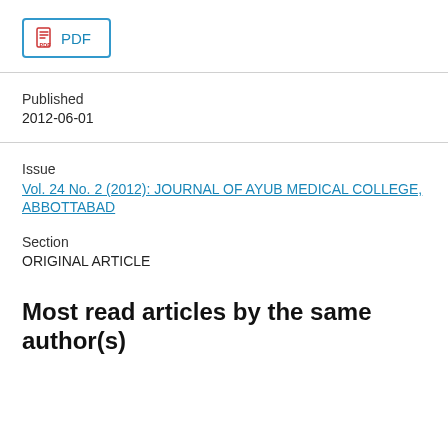[Figure (other): PDF download button with red PDF icon and blue border]
Published
2012-06-01
Issue
Vol. 24 No. 2 (2012): JOURNAL OF AYUB MEDICAL COLLEGE, ABBOTTABAD
Section
ORIGINAL ARTICLE
Most read articles by the same author(s)